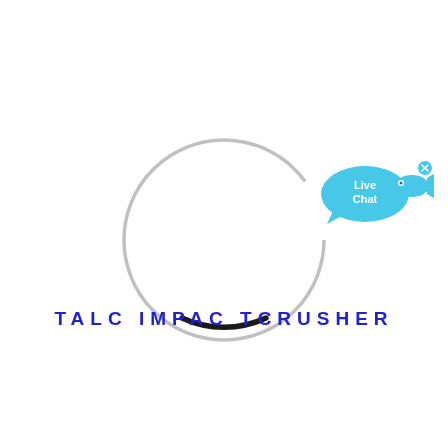[Figure (illustration): A circular ring/seal component shown from front view. The circle is drawn with a light gray stroke for most of its circumference, transitioning to a thick black arc at the bottom portion, suggesting a loading spinner or a mechanical seal ring.]
[Figure (illustration): Live Chat widget: a cyan/blue speech bubble with 'Live Chat' text in white, with a blue fish icon to the right and a small 'x' close button in the top-right corner.]
TALC IMPAC TCRUSHER